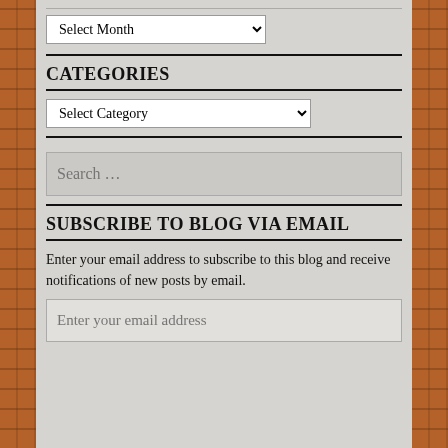[Figure (screenshot): Dropdown select widget with label 'Select Month']
CATEGORIES
[Figure (screenshot): Dropdown select widget with label 'Select Category']
[Figure (screenshot): Search input box with placeholder 'Search ...']
SUBSCRIBE TO BLOG VIA EMAIL
Enter your email address to subscribe to this blog and receive notifications of new posts by email.
[Figure (screenshot): Email input box with placeholder 'Enter your email address']